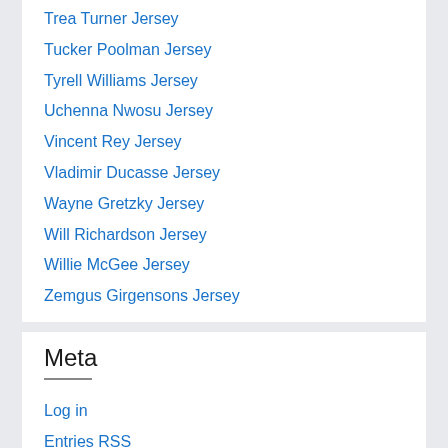Trea Turner Jersey
Tucker Poolman Jersey
Tyrell Williams Jersey
Uchenna Nwosu Jersey
Vincent Rey Jersey
Vladimir Ducasse Jersey
Wayne Gretzky Jersey
Will Richardson Jersey
Willie McGee Jersey
Zemgus Girgensons Jersey
Meta
Log in
Entries RSS
Comments RSS